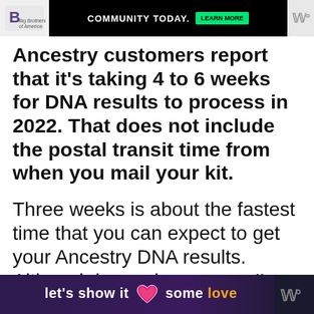[Figure (screenshot): Top advertisement banner with Big Brothers Big Sisters logo, 'COMMUNITY TODAY.' text in white on black background, green button, and Wm watermark on right]
Ancestry customers report that it's taking 4 to 6 weeks for DNA results to process in 2022. That does not include the postal transit time from when you mail your kit.
Three weeks is about the fastest time that you can expect to get your Ancestry DNA results. Although in previous years, I've seen customers
[Figure (screenshot): Bottom advertisement banner with purple gradient background, heart icon, text 'let's show it some love' with 'love' in orange/yellow, and Wm watermark on right]